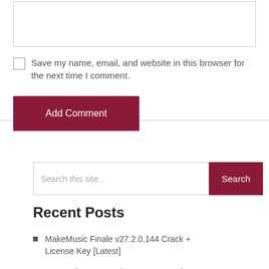Save my name, email, and website in this browser for the next time I comment.
Add Comment
Search this site...
Recent Posts
MakeMusic Finale v27.2.0.144 Crack + License Key [Latest]
IOTransfer Pro Crack 4.3.1.1566 + License Key Download [Latest]